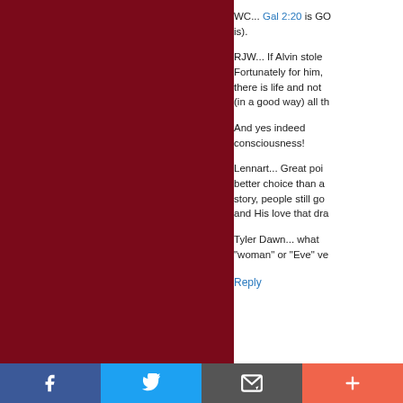[Figure (illustration): Dark crimson/maroon colored panel on the left side of the page]
WC... Gal 2:20 is GO... is).
RJW... If Alvin stole... Fortunately for him, there is life and not... (in a good way) all th...
And yes indeed ... consciousness!
Lennart... Great poi... better choice than a... story, people still go... and His love that dra...
Tyler Dawn... what... "woman" or "Eve" ve...
Reply
[Figure (infographic): Social sharing bar at the bottom with Facebook, Twitter, email/envelope, and plus buttons]